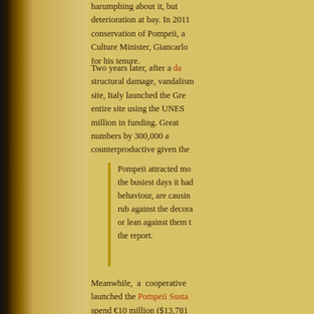harumphing about it, but deterioration at bay. In 2011 conservation of Pompeii, a Culture Minister, Giancarlo for his tenure.
Two years later, after a da structural damage, vandalism site, Italy launched the Gre entire site using the UNES million in funding. Great numbers by 300,000 a counterproductive given the
Pompeii attracted mo the busiest days it had behaviour, are causin rub against the decora or lean against them t the report.
Meanwhile, a cooperative launched the Pompeii Susta spend €10 million ($13,781 need of attention and trainin
Now that there's a new go Minister. Dario Franceschin minister Matteo Renzi. In n emergency meeting of herita